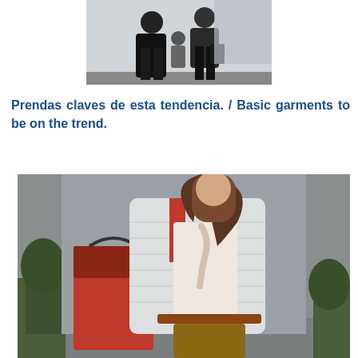[Figure (photo): Two people wearing dark clothing outdoors, black jackets and dark pants, against a light grey background]
Prendas claves de esta tendencia. / Basic garments to be on the trend.
[Figure (photo): Woman wearing a white quilted jacket, polka dot blouse with neck tie, brown pants and carrying a large red tote bag, standing outdoors with small trees in background]